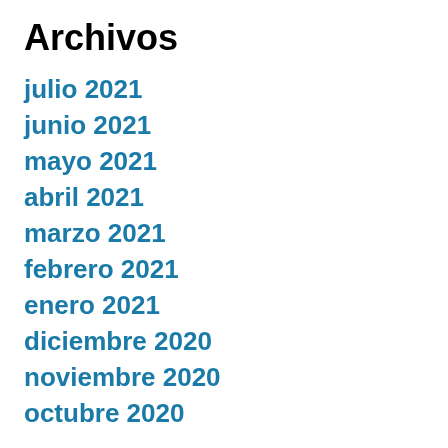Archivos
julio 2021
junio 2021
mayo 2021
abril 2021
marzo 2021
febrero 2021
enero 2021
diciembre 2020
noviembre 2020
octubre 2020